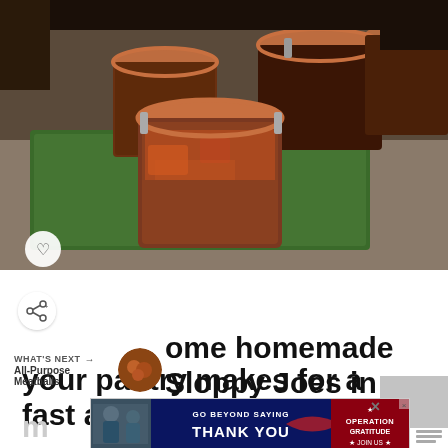[Figure (photo): Glass mason jars filled with homemade Sloppy Joe filling, arranged on a decorative green mat on a grey countertop. The jars have orange rubber-sealed lids with metal clamps.]
ome homemade Sloppy Joes in your pantry makes for a fast and easy
WHAT'S NEXT → All-Purpose Meatballs
[Figure (photo): Small circular thumbnail of All-Purpose Meatballs dish]
[Figure (advertisement): Operation Gratitude ad: GO BEYOND SAYING THANK YOU — JOIN US, with American flag star graphic and people in background]